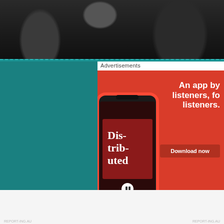[Figure (photo): Dark photo of people/crowd in background, partially visible at top of page]
Advertisements
[Figure (screenshot): Pocket Casts advertisement on red background showing a smartphone with 'Dis-trib-uted' podcast. Text reads 'An app by listeners, for listeners.' with a 'Download now' button and Pocket Casts logo.]
Advertisements
[Figure (logo): P2 logo (black square with P2 text) followed by tagline 'Getting your team on the same page is easy. And free.']
Getting your team on the same page is easy. And free.